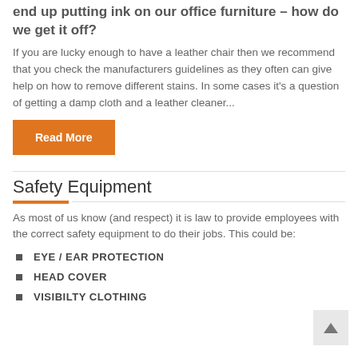end up putting ink on our office furniture – how do we get it off?
If you are lucky enough to have a leather chair then we recommend that you check the manufacturers guidelines as they often can give help on how to remove different stains. In some cases it's a question of getting a damp cloth and a leather cleaner...
Read More
Safety Equipment
As most of us know (and respect) it is law to provide employees with the correct safety equipment to do their jobs. This could be:
EYE / EAR PROTECTION
HEAD COVER
VISIBILTY CLOTHING